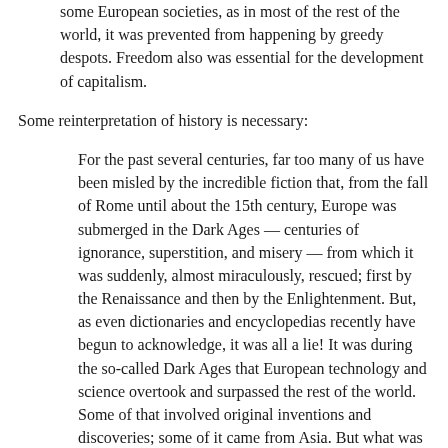some European societies, as in most of the rest of the world, it was prevented from happening by greedy despots. Freedom also was essential for the development of capitalism.
Some reinterpretation of history is necessary:
For the past several centuries, far too many of us have been misled by the incredible fiction that, from the fall of Rome until about the 15th century, Europe was submerged in the Dark Ages — centuries of ignorance, superstition, and misery — from which it was suddenly, almost miraculously, rescued; first by the Renaissance and then by the Enlightenment. But, as even dictionaries and encyclopedias recently have begun to acknowledge, it was all a lie! It was during the so-called Dark Ages that European technology and science overtook and surpassed the rest of the world. Some of that involved original inventions and discoveries; some of it came from Asia. But what was so remarkable